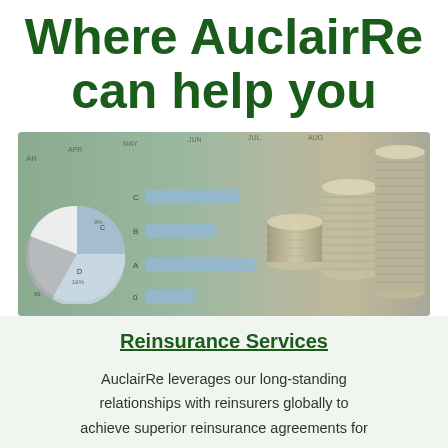Where AuclairRe can help you
[Figure (photo): Photo composite showing financial charts (pie chart and bar chart) overlaid with stacked silver coins, representing financial/reinsurance services]
Reinsurance Services
AuclairRe leverages our long-standing relationships with reinsurers globally to achieve superior reinsurance agreements for